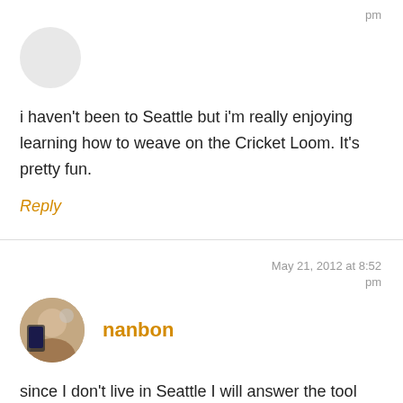pm
i haven't been to Seattle but i'm really enjoying learning how to weave on the Cricket Loom. It's pretty fun.
Reply
nanbon
May 21, 2012 at 8:52 pm
since I don't live in Seattle I will answer the tool question… my favorite right now is between my EQ 7 program, my Accuquilt fabric cutter and my Martelli's